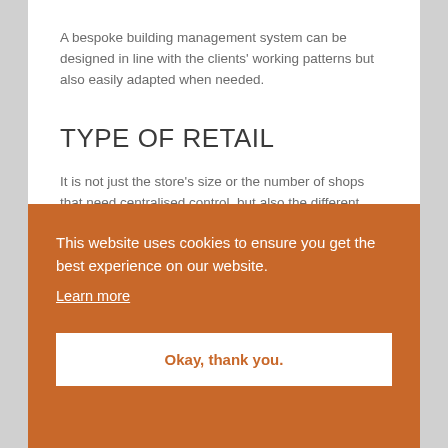A bespoke building management system can be designed in line with the clients' working patterns but also easily adapted when needed.
TYPE OF RETAIL
It is not just the store's size or the number of shops that need centralised control, but also the different requirements for the products sold. For instance, a supermarket would need cooling and refrigeration,
This website uses cookies to ensure you get the best experience on our website.
Learn more
Okay, thank you.